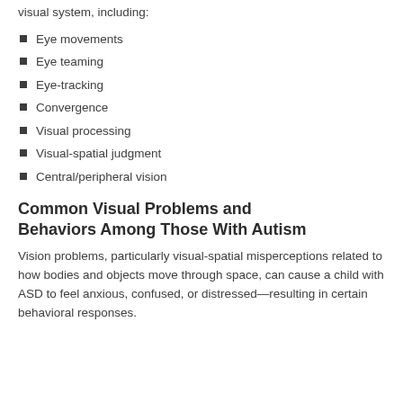visual system, including:
Eye movements
Eye teaming
Eye-tracking
Convergence
Visual processing
Visual-spatial judgment
Central/peripheral vision
Common Visual Problems and Behaviors Among Those With Autism
Vision problems, particularly visual-spatial misperceptions related to how bodies and objects move through space, can cause a child with ASD to feel anxious, confused, or distressed—resulting in certain behavioral responses.